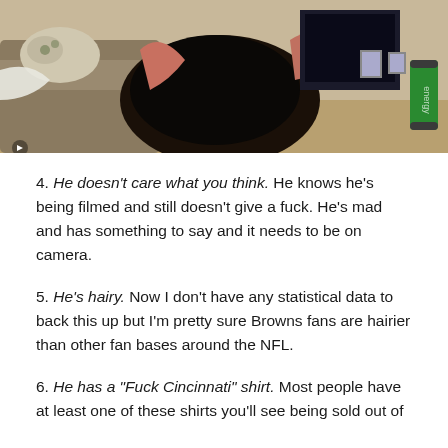[Figure (photo): A hand holding a dark object (possibly a phone or football) in what appears to be a living room setting. A green energy drink can is visible on the right side. A couch and TV/electronics are visible in the background.]
4. He doesn't care what you think. He knows he's being filmed and still doesn't give a fuck. He's mad and has something to say and it needs to be on camera.
5. He's hairy. Now I don't have any statistical data to back this up but I'm pretty sure Browns fans are hairier than other fan bases around the NFL.
6. He has a “Fuck Cincinnati” shirt. Most people have at least one of these shirts you'll see being sold out of